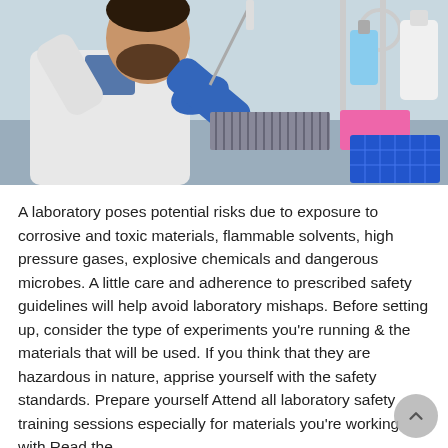[Figure (photo): A male scientist wearing a white lab coat and blue nitrile gloves, working at a laboratory bench. He is using a pipette or syringe near lab equipment. Laboratory glassware and liquid-filled containers are visible in the background, along with a pink microplate holder and blue microplate tray on the right.]
A laboratory poses potential risks due to exposure to corrosive and toxic materials, flammable solvents, high pressure gases, explosive chemicals and dangerous microbes. A little care and adherence to prescribed safety guidelines will help avoid laboratory mishaps. Before setting up, consider the type of experiments you're running & the materials that will be used. If you think that they are hazardous in nature, apprise yourself with the safety standards. Prepare yourself Attend all laboratory safety training sessions especially for materials you're working with Read the